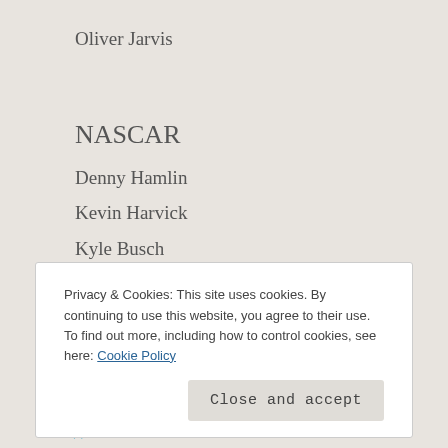Oliver Jarvis
NASCAR
Denny Hamlin
Kevin Harvick
Kyle Busch
Jimmie Johnson
Greg Biffle
★ Like
Privacy & Cookies: This site uses cookies. By continuing to use this website, you agree to their use.
To find out more, including how to control cookies, see here: Cookie Policy
Close and accept